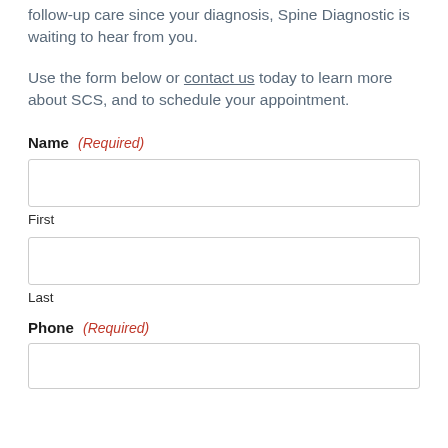follow-up care since your diagnosis, Spine Diagnostic is waiting to hear from you.
Use the form below or contact us today to learn more about SCS, and to schedule your appointment.
Name (Required)
First
Last
Phone (Required)